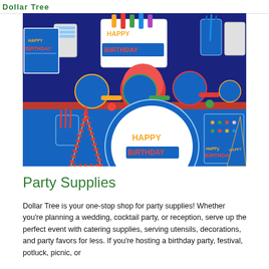Dollar Tree logo / header banner
[Figure (photo): Birthday party supplies spread on a blue and red table including Happy Birthday plates, cups, party hats, noisemakers, cutlery, napkins, and a centerpiece — colorful blue themed party set.]
Party Supplies
Dollar Tree is your one-stop shop for party supplies! Whether you're planning a wedding, cocktail party, or reception, serve up the perfect event with catering supplies, serving utensils, decorations, and party favors for less. If you're hosting a birthday party, festival, potluck, picnic, or